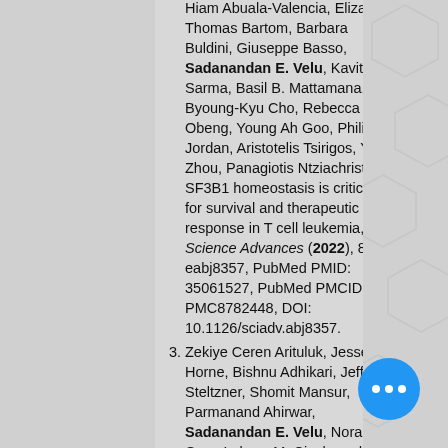Hiam Abuala-Valencia, Elizabeth Thomas Bartom, Barbara Buldini, Giuseppe Basso, Sadanandan E. Velu, Kavitha Sarma, Basil B. Mattamana, Byoung-Kyu Cho, Rebecca C. Obeng, Young Ah Goo, Philip W. Jordan, Aristotelis Tsirigos, Yalu Zhou, Panagiotis Ntziachristos, SF3B1 homeostasis is critical for survival and therapeutic response in T cell leukemia, Science Advances (2022), 8, eabj8357, PubMed PMID: 35061527, PubMed PMCID: PMC8782448, DOI: 10.1126/sciadv.abj8357.
Zekiye Ceren Arituluk, Jesse Horne, Bishnu Adhikari, Jeffrey Steltzner, Shomit Mansur, Parmanand Ahirwar, Sadanandan E. Velu, Nora E. Gray, Lukasz M. Ciesla and Yuping Bao, Identification of TrkB Binders from Complex Matrices Using a Magnetic Drug Screening Nanoplatform, ACS Appl. Bio Mater. (2021), 4: 6244–6255, DOI: 10.1021/acsabm.1c00552., DOI: 10.1021/acsabm.1c00552.
Chandni Desai, Jon Thomason, J... Kohlmeyer, Anna Reisetter, Parm... Ahirwar, Khadijeh Jahanseir, Marian... Leidinger, Georgina Ofori-Amanfo...